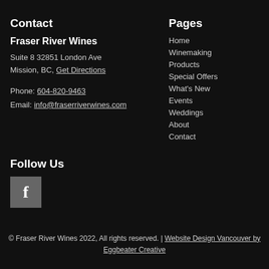Contact
Fraser River Wines
Suite 8 32851 London Ave
Mission, BC, Get Directions
Phone: 604-820-9463
Email: info@fraserriverwines.com
Pages
Home
Winemaking
Products
Special Offers
What's New
Events
Weddings
About
Contact
Follow Us
[Figure (logo): Facebook icon button in grey square]
© Fraser River Wines 2022, All rights reserved. | Website Design Vancouver by Eggbeater Creative